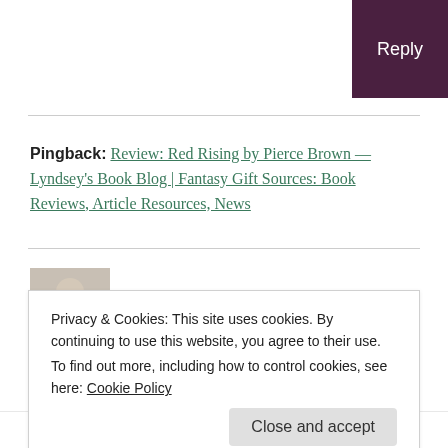Reply
Pingback: Review: Red Rising by Pierce Brown — Lyndsey's Book Blog | Fantasy Gift Sources: Book Reviews, Article Resources, News
Megan Whitworth
Privacy & Cookies: This site uses cookies. By continuing to use this website, you agree to their use.
To find out more, including how to control cookies, see here: Cookie Policy
Close and accept
book fascinating and the “transformation” scene had me